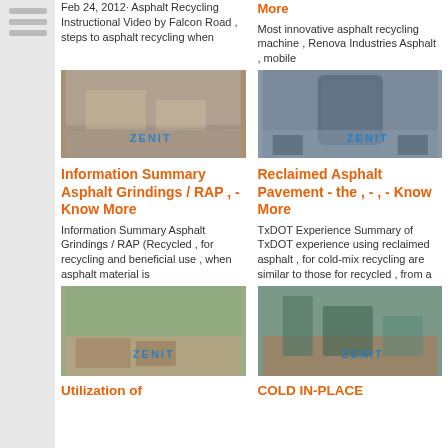Feb 24, 2012· Asphalt Recycling Instructional Video by Falcon Road , steps to asphalt recycling when
More
Most innovative asphalt recycling machine , Renova Industries Asphalt , mobile
[Figure (photo): Photo of asphalt recycling machinery with ZENIT watermark]
[Figure (photo): Photo of large industrial crushing machine indoors with ZENIT watermark]
Information Summary Asphalt Grindings / RAP , - Know More
Reclaimed Asphalt Pavement - the , - , - Know More
Information Summary Asphalt Grindings / RAP (Recycled , for recycling and beneficial use , when asphalt material is
TxDOT Experience Summary of TxDOT experience using reclaimed asphalt , for cold-mix recycling are similar to those for recycled , from a
[Figure (photo): Photo of outdoor mining/quarry site with ZENIT watermark]
[Figure (photo): Photo of asphalt/concrete plant outdoors with ZENIT watermark]
Utilization of
COLD IN-PLACE